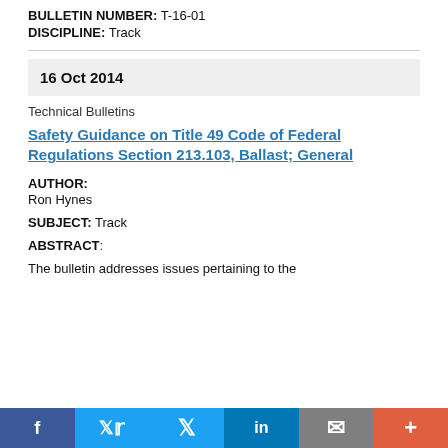BULLETIN NUMBER: T-16-01
DISCIPLINE: Track
16 Oct 2014
Technical Bulletins
Safety Guidance on Title 49 Code of Federal Regulations Section 213.103, Ballast; General
AUTHOR:
Ron Hynes
SUBJECT: Track
ABSTRACT:
The bulletin addresses issues pertaining to the